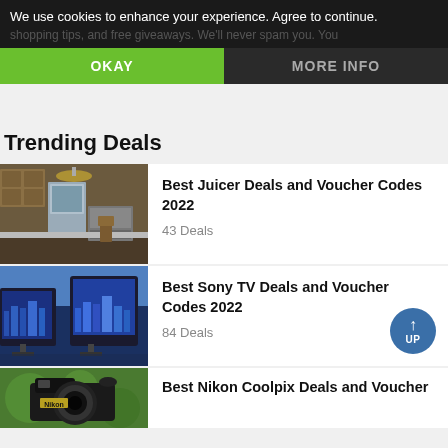We use cookies to enhance your experience. Agree to continue. shopping tips, and free giveaways. We'll never spam you. You
OKAY
MORE INFO
Trending Deals
[Figure (photo): Kitchen interior with wooden cabinets, stainless steel appliances and stove]
Best Juicer Deals and Voucher Codes 2022
43 Deals
[Figure (photo): Multiple Sony curved TVs displayed on stands]
Best Sony TV Deals and Voucher Codes 2022
84 Deals
[Figure (photo): Partial view of a Nikon camera]
Best Nikon Coolpix Deals and Voucher